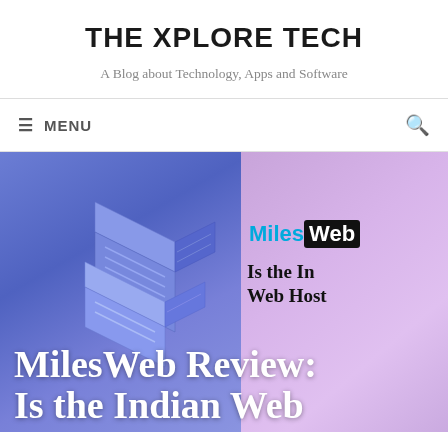THE XPLORE TECH
A Blog about Technology, Apps and Software
≡ MENU
[Figure (screenshot): Hero banner split into two panels: left panel has a blue/purple background with a 3D isometric server illustration; right panel has a pink/lavender background showing the MilesWeb logo and partial article title 'Is the In... Web Host...' The full article title overlaid on the bottom reads: 'MilesWeb Review: Is the Indian Web']